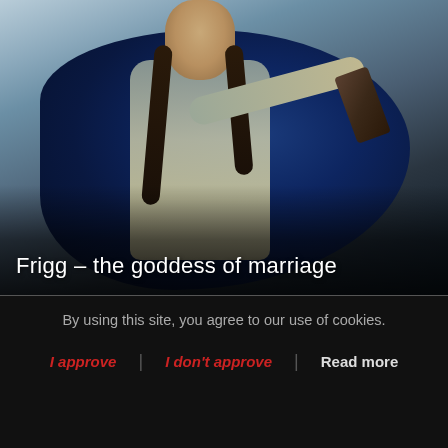[Figure (illustration): Painting of Frigg, Norse goddess of marriage, depicted as a woman with dark braids wearing a blue cape and grey-green dress, holding an object in her outstretched hand, against a light blue background. Title text 'Frigg – the goddess of marriage' overlaid at bottom of image.]
By using this site, you agree to our use of cookies.
I approve | I don't approve | Read more